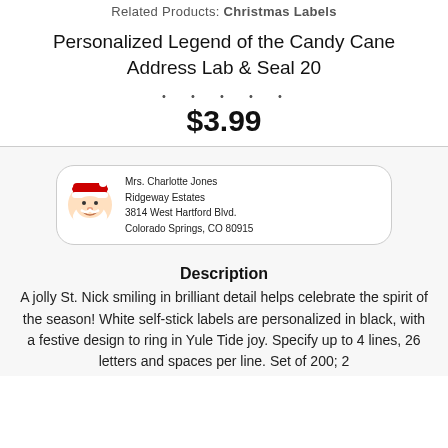Related Products: Christmas Labels
Personalized Legend of the Candy Cane Address Lab & Seal 20
★ ★ ★ ★ ★
$3.99
[Figure (illustration): Address label preview showing a jolly Santa Claus face graphic on the left, with sample address text: Mrs. Charlotte Jones, Ridgeway Estates, 3814 West Hartford Blvd., Colorado Springs, CO 80915. Label has rounded corners and a border.]
Description
A jolly St. Nick smiling in brilliant detail helps celebrate the spirit of the season! White self-stick labels are personalized in black, with a festive design to ring in Yule Tide joy. Specify up to 4 lines, 26 letters and spaces per line. Set of 200; 2